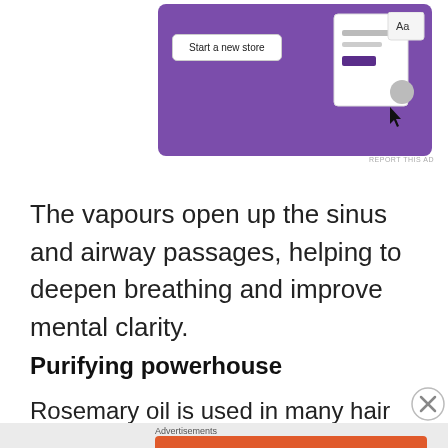[Figure (screenshot): Top advertisement banner with purple background showing 'Start a new store' button and a document/interface preview graphic.]
REPORT THIS AD
The vapours open up the sinus and airway passages, helping to deepen breathing and improve mental clarity.
Purifying powerhouse
Rosemary oil is used in many hair care products
[Figure (screenshot): DuckDuckGo advertisement: orange background with phone showing DuckDuckGo app. Text reads 'Search, browse, and email with more privacy. All in One Free App'. DuckDuckGo logo visible.]
REPORT THIS AD